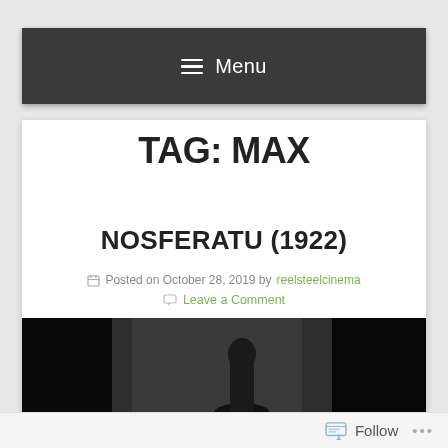≡ Menu
TAG: MAX
NOSFERATU (1922)
Posted on October 28, 2019 by reelsteelcinema
Leave a Comment
[Figure (photo): Black and white film still from Nosferatu (1922), showing a dark silhouette against a light wall]
Follow ...